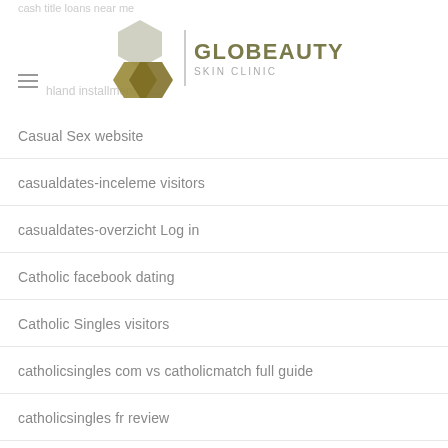GLOBEAUTY SKIN CLINIC
Casual Sex website
casualdates-inceleme visitors
casualdates-overzicht Log in
Catholic facebook dating
Catholic Singles visitors
catholicsingles com vs catholicmatch full guide
catholicsingles fr review
caucasian-dating review
cedar-rapids dating
centennial dating
centennial escort directory